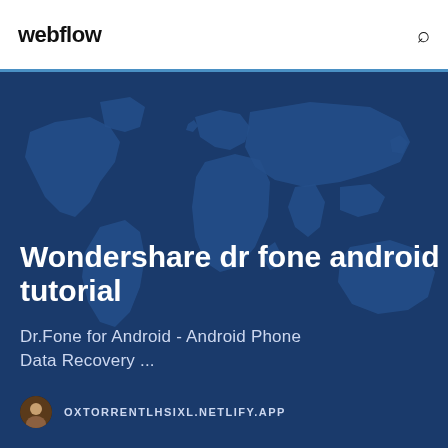webflow
[Figure (illustration): Dark blue world map as background image for hero section]
Wondershare dr fone android tutorial
Dr.Fone for Android - Android Phone Data Recovery ...
OXTORRENTLHSIXL.NETLIFY.APP